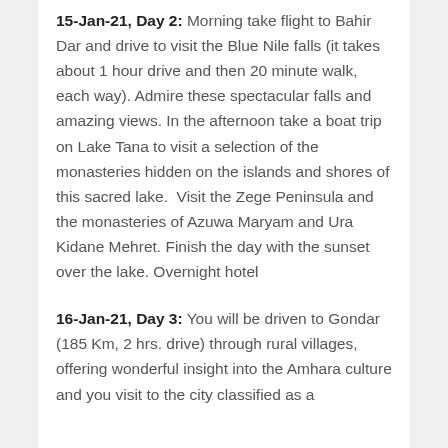15-Jan-21, Day 2: Morning take flight to Bahir Dar and drive to visit the Blue Nile falls (it takes about 1 hour drive and then 20 minute walk, each way). Admire these spectacular falls and amazing views. In the afternoon take a boat trip on Lake Tana to visit a selection of the monasteries hidden on the islands and shores of this sacred lake.  Visit the Zege Peninsula and the monasteries of Azuwa Maryam and Ura Kidane Mehret. Finish the day with the sunset over the lake. Overnight hotel
16-Jan-21, Day 3: You will be driven to Gondar (185 Km, 2 hrs. drive) through rural villages, offering wonderful insight into the Amhara culture and you visit to the city classified as a